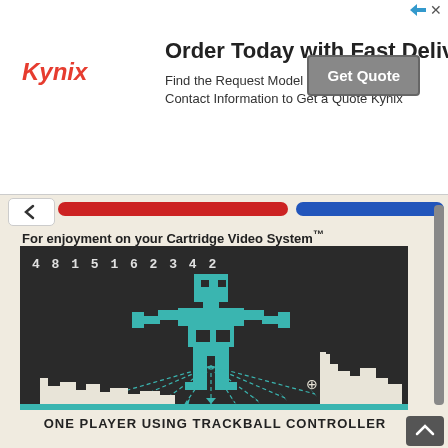[Figure (infographic): Kynix advertisement banner with logo, title 'Order Today with Fast Delivery', subtitle text, and Get Quote button]
For enjoyment on your Cartridge Video System™
[Figure (illustration): Retro video game screenshot showing a large teal pixel-art robot/skeleton figure shooting rays at a white city skyline silhouette on a dark background. Score 4815162342 shown in top left. Crosshair visible near bottom right.]
ONE PLAYER USING TRACKBALL CONTROLLER